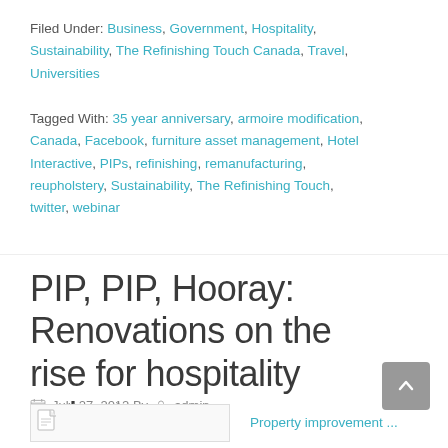Filed Under: Business, Government, Hospitality, Sustainability, The Refinishing Touch Canada, Travel, Universities
Tagged With: 35 year anniversary, armoire modification, Canada, Facebook, furniture asset management, Hotel Interactive, PIPs, refinishing, remanufacturing, reupholstery, Sustainability, The Refinishing Touch, twitter, webinar
PIP, PIP, Hooray: Renovations on the rise for hospitality industry
July 27, 2012 By admin